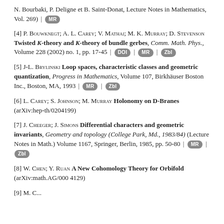N. Bourbaki, P. Deligne et B. Saint-Donat, Lecture Notes in Mathematics, Vol. 269) | MR
[4] P. Bouwknegt; A. L. Carey; V. Mathai; M. K. Murray; D. Stevenson Twisted K-theory and K-theory of bundle gerbes, Comm. Math. Phys., Volume 228 (2002) no. 1, pp. 17-45 | DOI | MR | Zbl
[5] J-L. Brylinski Loop spaces, characteristic classes and geometric quantization, Progress in Mathematics, Volume 107, Birkhäuser Boston Inc., Boston, MA, 1993 | MR | Zbl
[6] L. Carey; S. Johnson; M. Murray Holonomy on D-Branes (arXiv:hep-th/0204199)
[7] J. Cheeger; J. Simons Differential characters and geometric invariants, Geometry and topology (College Park, Md., 1983/84) (Lecture Notes in Math.) Volume 1167, Springer, Berlin, 1985, pp. 50-80 | MR | Zbl
[8] W. Chen; Y. Ruan A New Cohomology Theory for Orbifold (arXiv:math.AG/000 4129)
[9] M. C...